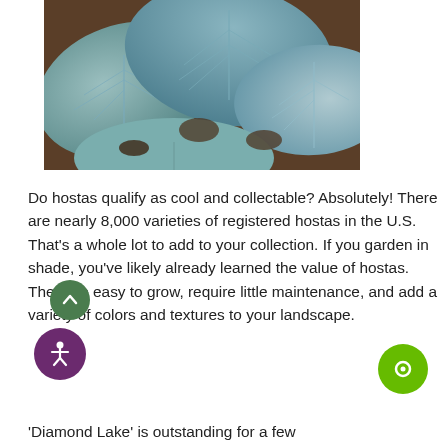[Figure (photo): Close-up photograph of large blue-green hosta leaves with textured, ribbed surfaces and dark soil visible between the plants.]
Do hostas qualify as cool and collectable? Absolutely! There are nearly 8,000 varieties of registered hostas in the U.S. That’s a whole lot to add to your collection. If you garden in shade, you’ve likely already learned the value of hostas. They are easy to grow, require little maintenance, and add a variety of colors and textures to your landscape.
‘Diamond Lake’ is outstanding for a few